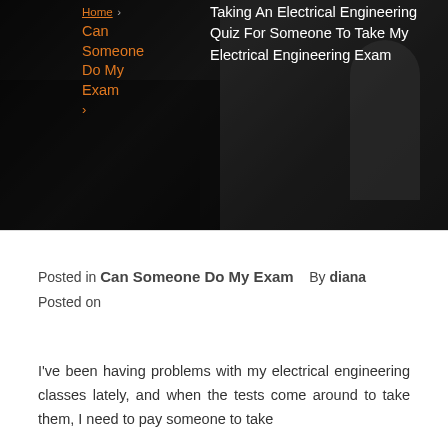[Figure (photo): Dark hero banner image with electrical engineering background, showing dark tones with equipment silhouettes]
Home › Can Someone Do My Exam ›
Taking An Electrical Engineering Quiz For Someone To Take My Electrical Engineering Exam
Posted in Can Someone Do My Exam   By diana
Posted on
I've been having problems with my electrical engineering classes lately, and when the tests come around to take them, I need to pay someone to take